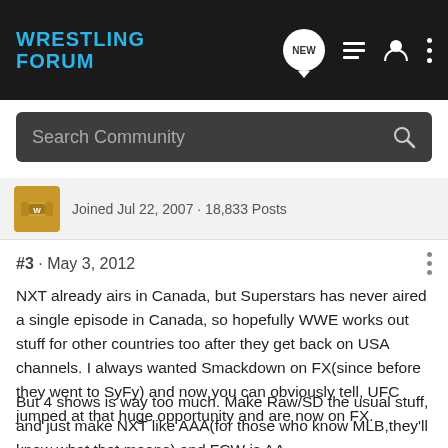WRESTLING FORUM
Search Community
Joined Jul 22, 2007 · 18,833 Posts
#3 · May 3, 2012
NXT already airs in Canada, but Superstars has never aired a single episode in Canada, so hopefully WWE works out stuff for other countries too after they get back on USA channels. I always wanted Smackdown on FX(since before they went to SyFy) and now you can obviously tell, UFC jumped at that huge opportunity and are now on FX.
But 4 shows is way too much. Make Raw/SD the usual stuff, and just make NXT like AAA(for those who know MLB,they'll know what that means) and FCW is AA.